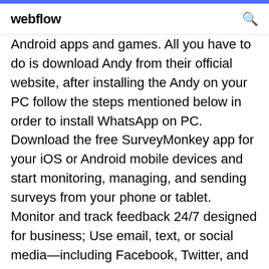webflow
Android apps and games. All you have to do is download Andy from their official website, after installing the Andy on your PC follow the steps mentioned below in order to install WhatsApp on PC. Download the free SurveyMonkey app for your iOS or Android mobile devices and start monitoring, managing, and sending surveys from your phone or tablet. Monitor and track feedback 24/7 designed for business; Use email, text, or social media—including Facebook, Twitter, and WhatsApp—to send surveys.